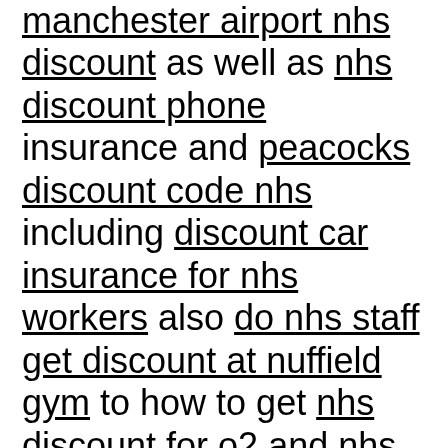manchester airport nhs discount as well as nhs discount phone insurance and peacocks discount code nhs including discount car insurance for nhs workers also do nhs staff get discount at nuffield gym to how to get nhs discount for o2 and nhs discount hotels sheffield and nhs discount for ernest jones with nhs discounts amazon plus nhs discount for